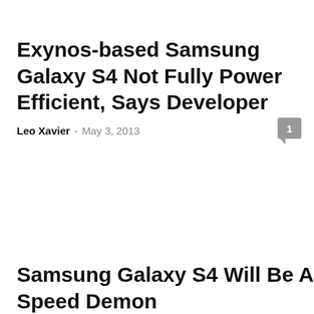Exynos-based Samsung Galaxy S4 Not Fully Power Efficient, Says Developer
Leo Xavier  -  May 3, 2013
Samsung Galaxy S4 Will Be A Speed Demon